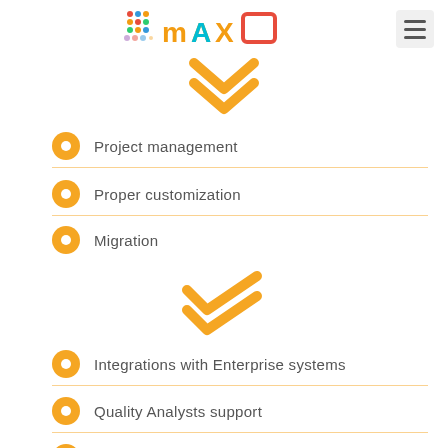[Figure (logo): MAXO logo with colorful dots and orange/cyan/blue/red letters]
[Figure (other): Orange double chevron down arrow icon]
Project management
Proper customization
Migration
[Figure (other): Orange double check mark icon]
Integrations with Enterprise systems
Quality Analysts support
Final deployment and maintenance